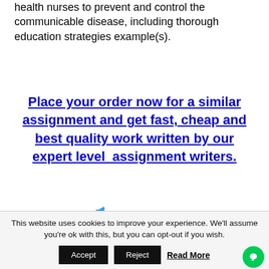health nurses to prevent and control the communicable disease, including thorough education strategies example(s).
Place your order now for a similar assignment and get fast, cheap and best quality work written by our expert level  assignment writers.
[Figure (other): Green ORDER NOW button with blue arrow icon above it]
This website uses cookies to improve your experience. We'll assume you're ok with this, but you can opt-out if you wish.